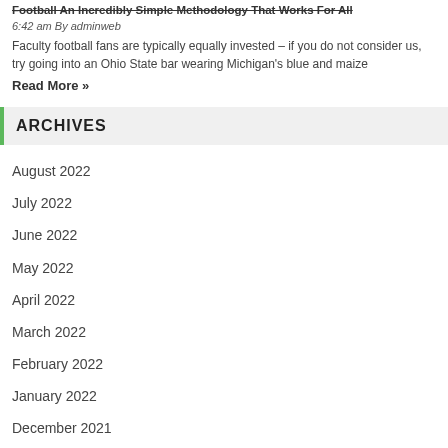Football An Incredibly Simple Methodology That Works For All
6:42 am By adminweb
Faculty football fans are typically equally invested – if you do not consider us, try going into an Ohio State bar wearing Michigan's blue and maize
Read More »
ARCHIVES
August 2022
July 2022
June 2022
May 2022
April 2022
March 2022
February 2022
January 2022
December 2021
November 2021